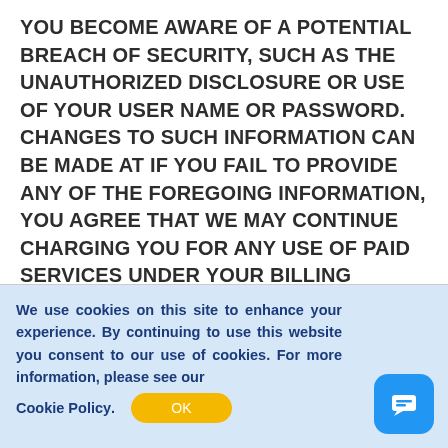YOU BECOME AWARE OF A POTENTIAL BREACH OF SECURITY, SUCH AS THE UNAUTHORIZED DISCLOSURE OR USE OF YOUR USER NAME OR PASSWORD. CHANGES TO SUCH INFORMATION CAN BE MADE AT IF YOU FAIL TO PROVIDE ANY OF THE FOREGOING INFORMATION, YOU AGREE THAT WE MAY CONTINUE CHARGING YOU FOR ANY USE OF PAID SERVICES UNDER YOUR BILLING
We use cookies on this site to enhance your experience. By continuing to use this website you consent to our use of cookies. For more information, please see our Cookie Policy.